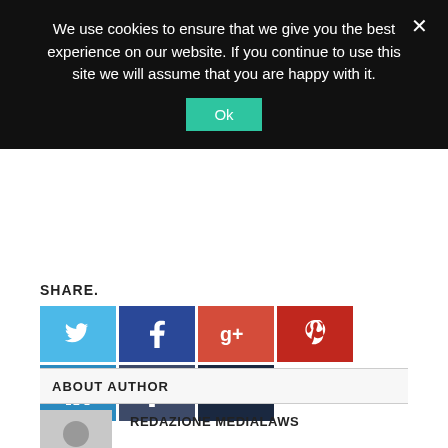We use cookies to ensure that we give you the best experience on our website. If you continue to use this site we will assume that you are happy with it.
Ok
SHARE.
[Figure (other): Social share buttons: Twitter, Facebook, Google+, Pinterest, LinkedIn, Tumblr, Email]
ABOUT AUTHOR
[Figure (photo): Generic user avatar placeholder (grey silhouette)]
REDAZIONE MEDIALAWS